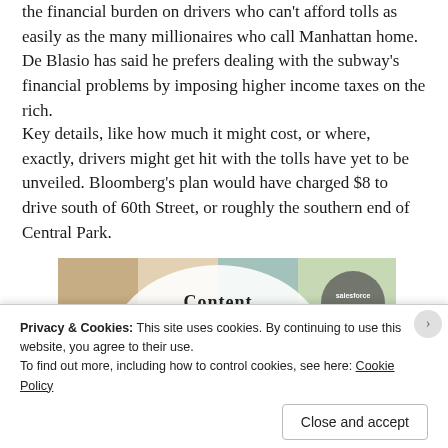the financial burden on drivers who can't afford tolls as easily as the many millionaires who call Manhattan home. De Blasio has said he prefers dealing with the subway's financial problems by imposing higher income taxes on the rich.
Key details, like how much it might cost, or where, exactly, drivers might get hit with the tolls have yet to be unveiled. Bloomberg's plan would have charged $8 to drive south of 60th Street, or roughly the southern end of Central Park.
[Figure (illustration): Advertisement banner showing WordPress VIP content platform branding with circular logos including Merck and Salesforce, colorful tile background. Contains text 'Content', 'WPvip', and 'Learn more' button.]
Privacy & Cookies: This site uses cookies. By continuing to use this website, you agree to their use.
To find out more, including how to control cookies, see here: Cookie Policy
Close and accept